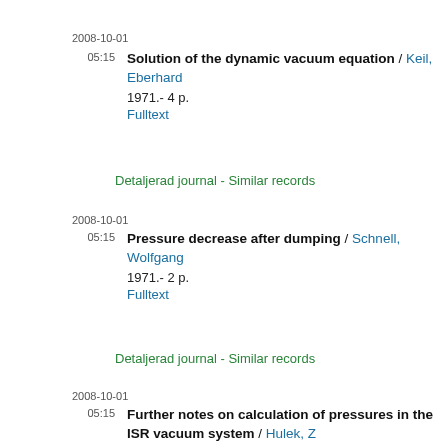2008-10-01
05:15  Solution of the dynamic vacuum equation / Keil, Eberhard
1971.- 4 p.
Fulltext
Detaljerad journal - Similar records
2008-10-01
05:15  Pressure decrease after dumping / Schnell, Wolfgang
1971.- 2 p.
Fulltext
Detaljerad journal - Similar records
2008-10-01
05:15  Further notes on calculation of pressures in the ISR vacuum system / Hulek, Z
1971.- 7 p.